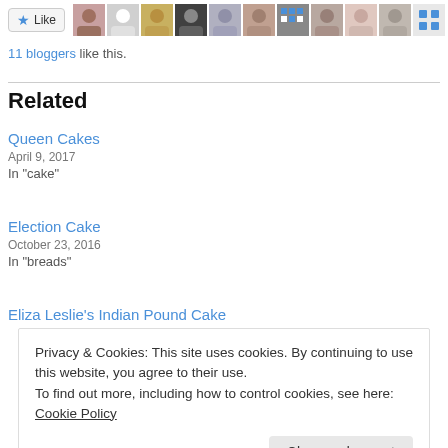[Figure (screenshot): Like button with star icon and a row of blogger avatar thumbnails]
11 bloggers like this.
Related
Queen Cakes
April 9, 2017
In "cake"
Election Cake
October 23, 2016
In "breads"
Eliza Leslie's Indian Pound Cake
Privacy & Cookies: This site uses cookies. By continuing to use this website, you agree to their use.
To find out more, including how to control cookies, see here: Cookie Policy
Close and accept